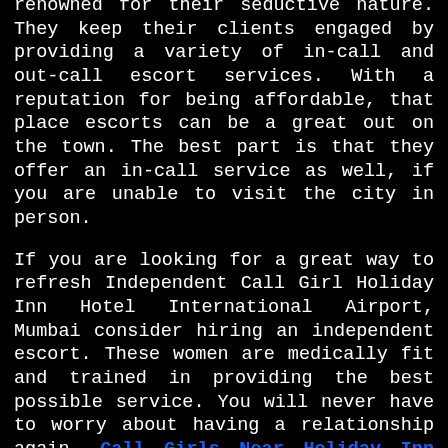renowned for their seductive nature. They keep their clients engaged by providing a variety of in-call and out-call escort services. With a reputation for being affordable, that place escorts can be a great out on the town. The best part is that they offer an in-call service as well, if you are unable to visit the city in person.
If you are looking for a great way to refresh Independent Call Girl Holiday Inn Hotel International Airport, Mumbai consider hiring an independent escort. These women are medically fit and trained in providing the best possible service. You will never have to worry about having a relationship again, Call Girls Near Holiday Inn Hotel International Airport, Mumbai are medically fit. Aside from being a medically fit, entitlement to it...